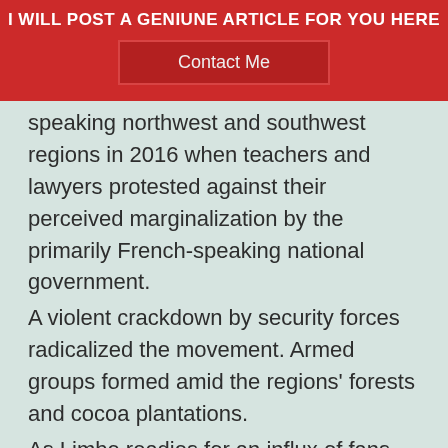I WILL POST A GENIUNE ARTICLE FOR YOU HERE
Contact Me
speaking northwest and southwest regions in 2016 when teachers and lawyers protested against their perceived marginalization by the primarily French-speaking national government.
A violent crackdown by security forces radicalized the movement. Armed groups formed amid the regions’ forests and cocoa plantations.
As Limbe readies for an influx of fans, some residents said they are not focused on soccer.